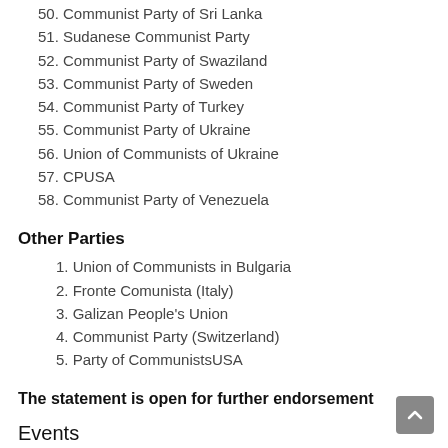50. Communist Party of Sri Lanka
51. Sudanese Communist Party
52. Communist Party of Swaziland
53. Communist Party of Sweden
54. Communist Party of Turkey
55. Communist Party of Ukraine
56. Union of Communists of Ukraine
57. CPUSA
58. Communist Party of Venezuela
Other Parties
1. Union of Communists in Bulgaria
2. Fronte Comunista (Italy)
3. Galizan People's Union
4. Communist Party (Switzerland)
5. Party of CommunistsUSA
The statement is open for further endorsement
Events